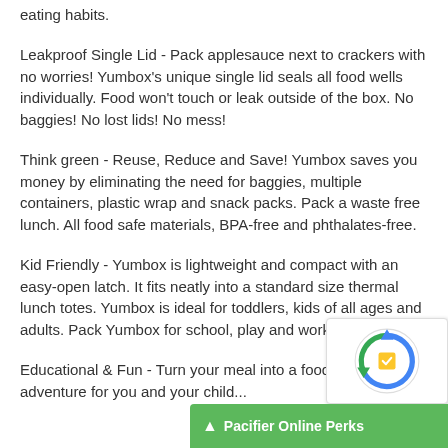eating habits.
Leakproof Single Lid - Pack applesauce next to crackers with no worries! Yumbox's unique single lid seals all food wells individually. Food won't touch or leak outside of the box. No baggies! No lost lids! No mess!
Think green - Reuse, Reduce and Save! Yumbox saves you money by eliminating the need for baggies, multiple containers, plastic wrap and snack packs. Pack a waste free lunch. All food safe materials, BPA-free and phthalates-free.
Kid Friendly - Yumbox is lightweight and compact with an easy-open latch. It fits neatly into a standard size thermal lunch totes. Yumbox is ideal for toddlers, kids of all ages and adults. Pack Yumbox for school, play and work.
Educational & Fun - Turn your me... [partially visible] adventure for you and your child...
[Figure (other): reCAPTCHA widget overlay in bottom-right corner]
Pacifier Online Perks